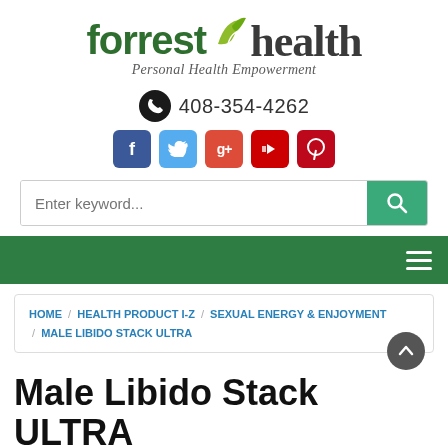[Figure (logo): Forrest Health logo with green leaf graphic, 'forrest' in dark green bold sans-serif and 'health' in dark bold serif, tagline 'Personal Health Empowerment' in italic below]
408-354-4262
[Figure (infographic): Row of social media icon buttons: Facebook (blue), Twitter (light blue), Google+ (red), YouTube (dark red), Pinterest (dark red)]
[Figure (screenshot): Search bar with placeholder 'Enter keyword...' and a teal search button with magnifying glass icon]
[Figure (infographic): Dark green navigation bar with hamburger menu icon on the right]
HOME / HEALTH PRODUCT I-Z / SEXUAL ENERGY & ENJOYMENT / MALE LIBIDO STACK ULTRA
Male Libido Stack ULTRA